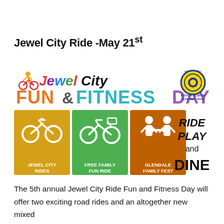Jewel City Ride -May 21st
[Figure (illustration): Jewel City Fun & Fitness Day logo with Rotary Club of Glendale Noon hosted by badge. Three colored tiles showing Jewel City Rides (yellow/gold, bicycle icon), Free Family Fun Ride (green, bicycle icon), Glendale Family Fest (orange/brown, family icon). Text to right reads RIDE, PLAY, and, DINE.]
The 5th annual Jewel City Ride Fun and Fitness Day will offer two exciting road rides and an altogether new mixed